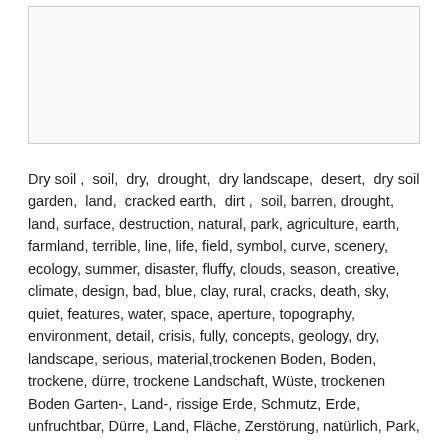[Figure (photo): Empty white/light gray image placeholder box]
Dry soil ,  soil,  dry,  drought,  dry landscape,  desert,  dry soil garden,  land,  cracked earth,  dirt ,  soil, barren, drought, land, surface, destruction, natural, park, agriculture, earth, farmland, terrible, line, life, field, symbol, curve, scenery, ecology, summer, disaster, fluffy, clouds, season, creative, climate, design, bad, blue, clay, rural, cracks, death, sky, quiet, features, water, space, aperture, topography, environment, detail, crisis, fully, concepts, geology, dry, landscape, serious, material,trockenen Boden, Boden, trockene, dürre, trockene Landschaft, Wüste, trockenen Boden Garten-, Land-, rissige Erde, Schmutz, Erde, unfruchtbar, Dürre, Land, Fläche, Zerstörung, natürlich, Park, Landschaft, Erde, Feld, schrecklich, tatsiereinhalten, Feld